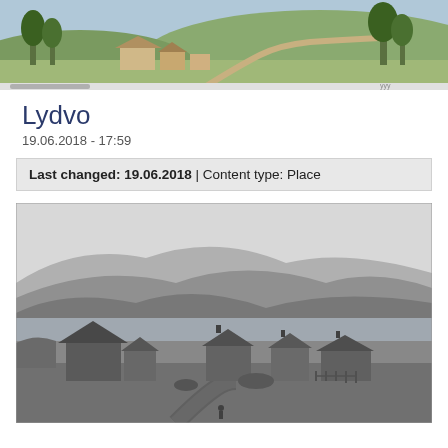[Figure (photo): Colorized historical illustration showing a farmstead with buildings surrounded by trees and hills in the background, with a road visible.]
Lydvo
19.06.2018 - 17:59
Last changed: 19.06.2018 | Content type: Place
[Figure (photo): Black and white historical photograph showing a cluster of traditional Norwegian farm buildings with a fjord and mountains in the background.]